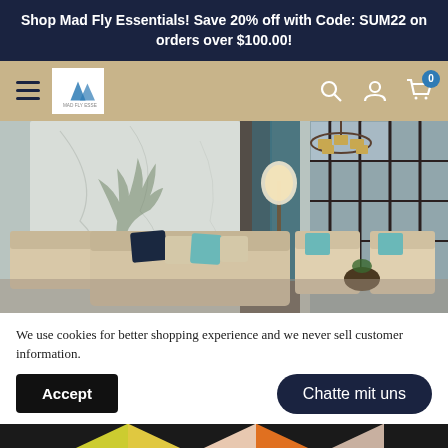Shop Mad Fly Essentials! Save 20% off with Code: SUM22 on orders over $100.00!
[Figure (screenshot): Navigation bar with hamburger menu, Mad Fly Essentials logo, search icon, user icon, and cart icon with 0 badge on tan/khaki background]
[Figure (photo): Interior room photo showing a luxury living room with marble wall panels, beige sofas with teal and navy cushions, chandeliers, floor lamp, and large windows with dark frames]
We use cookies for better shopping experience and we never sell customer information.
Accept
Chatte mit uns
[Figure (photo): Bottom strip showing colorful geometric rug pattern with black, yellow, pink, and orange triangular shapes]